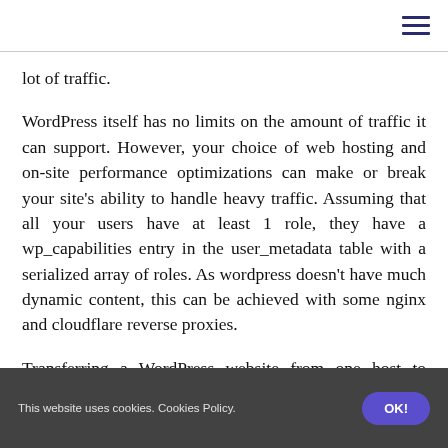lot of traffic.
WordPress itself has no limits on the amount of traffic it can support. However, your choice of web hosting and on-site performance optimizations can make or break your site's ability to handle heavy traffic. Assuming that all your users have at least 1 role, they have a wp_capabilities entry in the user_metadata table with a serialized array of roles. As wordpress doesn't have much dynamic content, this can be achieved with some nginx and cloudflare reverse proxies.
Transferring a WordPress website from one host to another, although it's not very simple, is doable. Again, just like the number of posts your WordPress